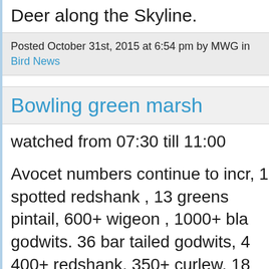Deer along the Skyline.
Posted October 31st, 2015 at 6:54 pm by MWG in Bird News
Bowling green marsh
watched from 07:30 till 11:00
Avocet numbers continue to incr, 1 spotted redshank , 13 greens pintail, 600+ wigeon , 1000+ bla godwits. 36 bar tailed godwits, 4 400+ redshank, 350+ curlew, 18 shoveler, 5 gadwall, 1 stonechat